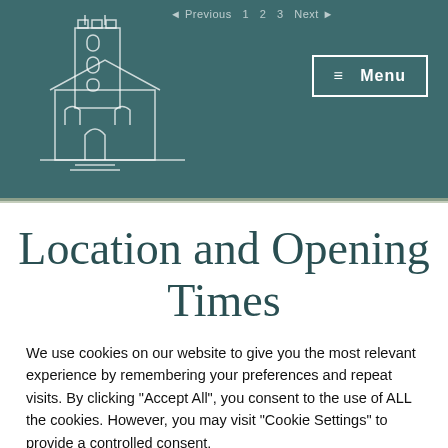≡ Menu
Location and Opening Times
We use cookies on our website to give you the most relevant experience by remembering your preferences and repeat visits. By clicking "Accept All", you consent to the use of ALL the cookies. However, you may visit "Cookie Settings" to provide a controlled consent.
Cookie Settings   Accept All